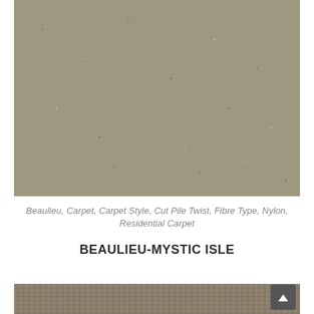[Figure (photo): Close-up photograph of a beige/taupe textured carpet with cut pile twist style, showing the fibrous surface texture in detail.]
Beaulieu, Carpet, Carpet Style, Cut Pile Twist, Fibre Type, Nylon, Residential Carpet
BEAULIEU-MYSTIC ISLE
[Figure (photo): Partial close-up of a second carpet sample showing a woven/looped texture in a brownish-taupe color.]